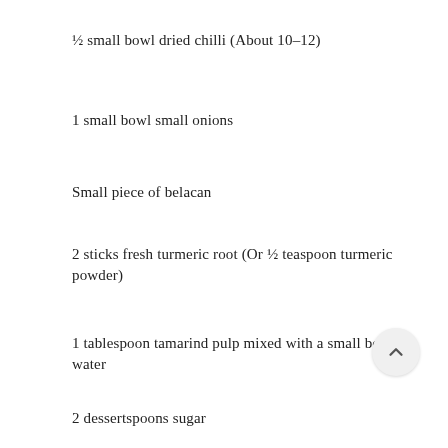½ small bowl dried chilli (About 10–12)
1 small bowl small onions
Small piece of belacan
2 sticks fresh turmeric root (Or ½ teaspoon turmeric powder)
1 tablespoon tamarind pulp mixed with a small bowl of water
2 dessertspoons sugar
Salt to taste